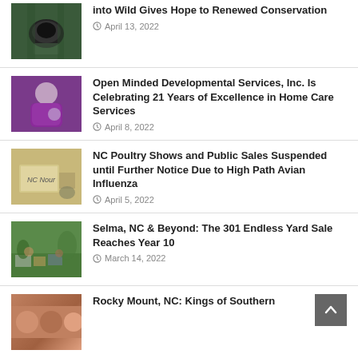[Figure (photo): Small dark animal (possibly a squirrel or similar wildlife) being held by hands, outdoor forest background]
into Wild Gives Hope to Renewed Conservation
April 13, 2022
[Figure (photo): Person in purple fuzzy outfit holding a glass award or trophy]
Open Minded Developmental Services, Inc. Is Celebrating 21 Years of Excellence in Home Care Services
April 8, 2022
[Figure (photo): NC Nour sign with poultry-related items in background]
NC Poultry Shows and Public Sales Suspended until Further Notice Due to High Path Avian Influenza
April 5, 2022
[Figure (photo): Outdoor yard sale with many items spread on the ground and people browsing]
Selma, NC & Beyond: The 301 Endless Yard Sale Reaches Year 10
March 14, 2022
[Figure (photo): Group of people, partial view at bottom of page]
Rocky Mount, NC: Kings of Southern